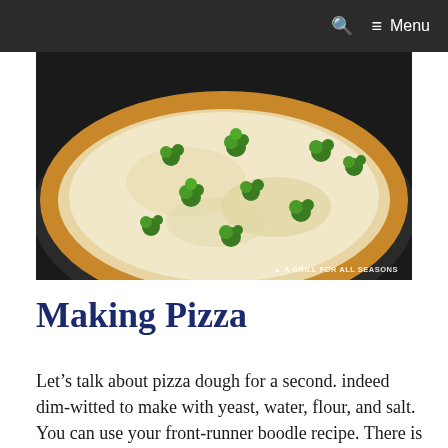Menu
[Figure (photo): Close-up photo of a flatbread/pizza topped with melted white cheese and broccoli florets, on a dark round pizza pan. Watermark reads 'A GRILL FOR ALL SEASONS' in bottom right corner.]
Making Pizza
Let’s talk about pizza dough for a second. indeed dim-witted to make with yeast, water, flour, and salt. You can use your front-runner boodle recipe. There is no specific kind of dough